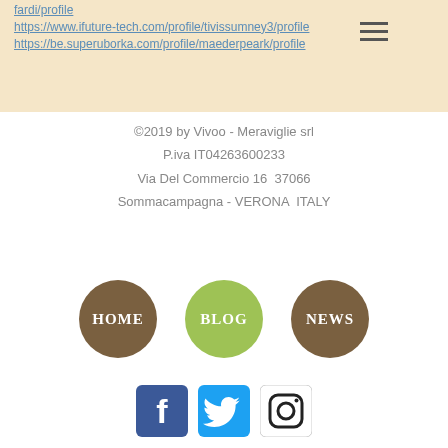fardi/profile
https://www.ifuture-tech.com/profile/tivissumney3/profile
https://be.superuborka.com/profile/maederpea rk/profile
©2019 by Vivoo - Meraviglie srl
P.iva IT04263600233
Via Del Commercio 16  37066
Sommacampagna - VERONA  ITALY
[Figure (other): Navigation circles: HOME (brown), BLOG (green), NEWS (brown)]
[Figure (other): Social media icons: Facebook, Twitter, Instagram]